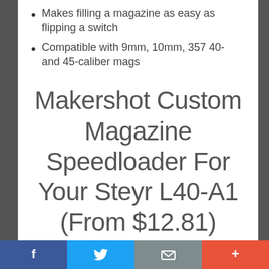Makes filling a magazine as easy as flipping a switch
Compatible with 9mm, 10mm, 357 40- and 45-caliber mags
Makershot Custom Magazine Speedloader For Your Steyr L40-A1 (From $12.81)
f | Twitter bird | mail | +